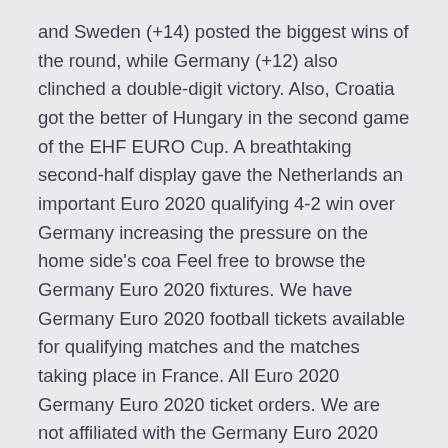and Sweden (+14) posted the biggest wins of the round, while Germany (+12) also clinched a double-digit victory. Also, Croatia got the better of Hungary in the second game of the EHF EURO Cup. A breathtaking second-half display gave the Netherlands an important Euro 2020 qualifying 4-2 win over Germany increasing the pressure on the home side's coa Feel free to browse the Germany Euro 2020 fixtures. We have Germany Euro 2020 football tickets available for qualifying matches and the matches taking place in France. All Euro 2020 Germany Euro 2020 ticket orders. We are not affiliated with the Germany Euro 2020 UEFA or FIFA and tickets may be priced above face value.
Nov 17, 2019 · 2020 UEFA Euro